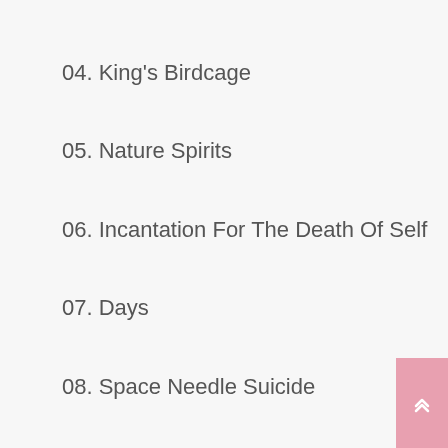04. King's Birdcage
05. Nature Spirits
06. Incantation For The Death Of Self
07. Days
08. Space Needle Suicide
09. Tar Box Poltergeist
Ann McMillan – Gateway Summer Sound: Abstracted Animal & Other Sounds